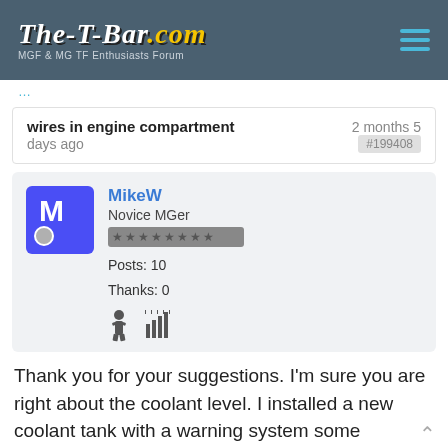The-T-Bar.com — MGF & MG TF Enthusiasts Forum
wires in engine compartment   2 months 5 days ago   #199408
MikeW
Novice MGer
Posts: 10
Thanks: 0
Thank you for your suggestions. I'm sure you are right about the coolant level. I installed a new coolant tank with a warning system some